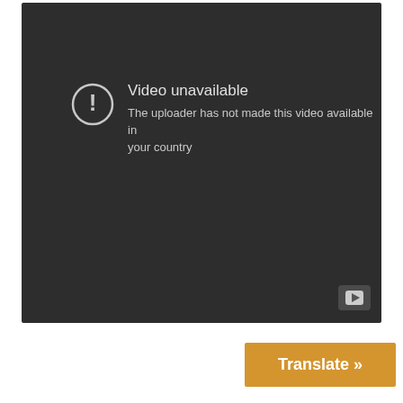[Figure (screenshot): YouTube video player showing an error state: dark background with a circular exclamation icon, title 'Video unavailable', message 'The uploader has not made this video available in your country', and a YouTube logo button in the bottom-right corner.]
Translate »